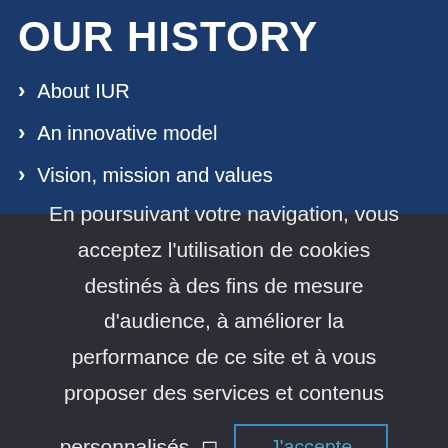OUR HISTORY
About IUR
An innovative model
Vision, mission and values
En poursuivant votre navigation, vous acceptez l'utilisation de cookies destinés à des fins de mesure d'audience, à améliorer la performance de ce site et à vous proposer des services et contenus personnalisés. J'accepte